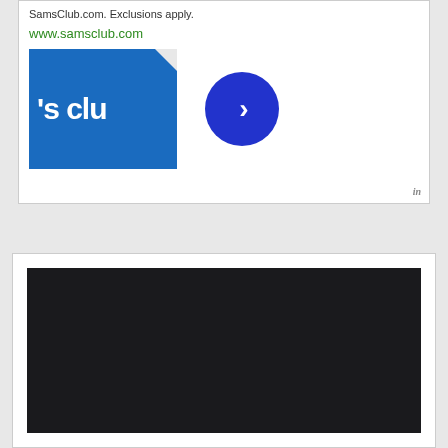SamsClub.com. Exclusions apply.
www.samsclub.com
[Figure (logo): Sam's Club logo — blue square with notch cut from top-right corner, showing text "'s clu" in white bold font, partially cropped. Next to it a dark blue circle with a white right-pointing chevron arrow. Bottom-right shows 'in' information icon.]
[Figure (photo): Bottom section: white panel containing a large black/dark rectangle, likely a video player or dark image panel.]